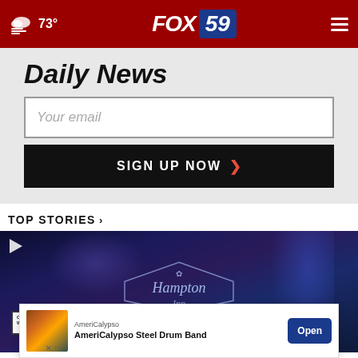73° FOX 59
Daily News
Your email
SIGN UP NOW
TOP STORIES ›
[Figure (photo): Nighttime street scene showing Hampton Inn sign with blue lighting, One Way street sign visible on left, close/dismiss button overlay]
[Figure (infographic): Advertisement banner for AmeriCalypso featuring: AmeriCalypso brand label, 'AmeriCalypso Steel Drum Band' title text, Open button in blue, advertisement thumbnail image]